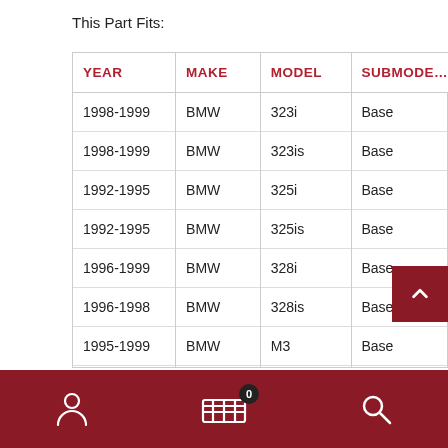This Part Fits:
| YEAR | MAKE | MODEL | SUBMODEL |
| --- | --- | --- | --- |
| 1998-1999 | BMW | 323i | Base |
| 1998-1999 | BMW | 323is | Base |
| 1992-1995 | BMW | 325i | Base |
| 1992-1995 | BMW | 325is | Base |
| 1996-1999 | BMW | 328i | Base |
| 1996-1998 | BMW | 328is | Base |
| 1995-1999 | BMW | M3 | Base |
| 1995 | BMW | M3 | Lightw... |